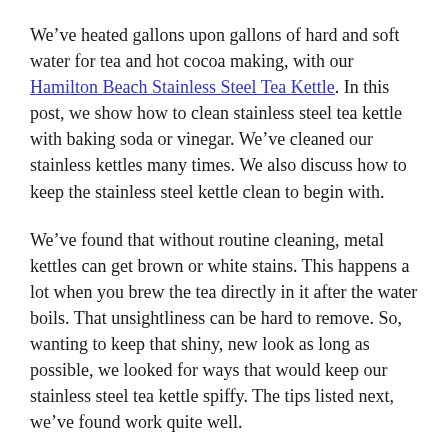We've heated gallons upon gallons of hard and soft water for tea and hot cocoa making, with our Hamilton Beach Stainless Steel Tea Kettle. In this post, we show how to clean stainless steel tea kettle with baking soda or vinegar. We've cleaned our stainless kettles many times. We also discuss how to keep the stainless steel kettle clean to begin with.
We've found that without routine cleaning, metal kettles can get brown or white stains. This happens a lot when you brew the tea directly in it after the water boils. That unsightliness can be hard to remove. So, wanting to keep that shiny, new look as long as possible, we looked for ways that would keep our stainless steel tea kettle spiffy. The tips listed next, we've found work quite well.